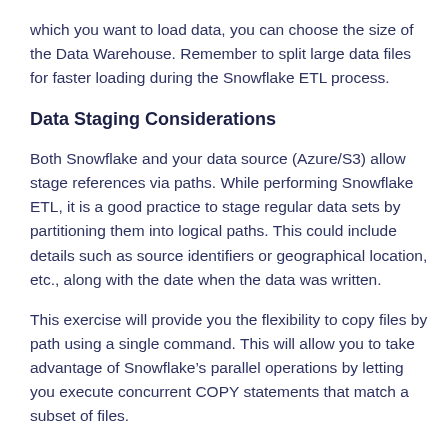which you want to load data, you can choose the size of the Data Warehouse. Remember to split large data files for faster loading during the Snowflake ETL process.
Data Staging Considerations
Both Snowflake and your data source (Azure/S3) allow stage references via paths. While performing Snowflake ETL, it is a good practice to stage regular data sets by partitioning them into logical paths. This could include details such as source identifiers or geographical location, etc., along with the date when the data was written.
This exercise will provide you the flexibility to copy files by path using a single command. This will allow you to take advantage of Snowflake’s parallel operations by letting you execute concurrent COPY statements that match a subset of files.